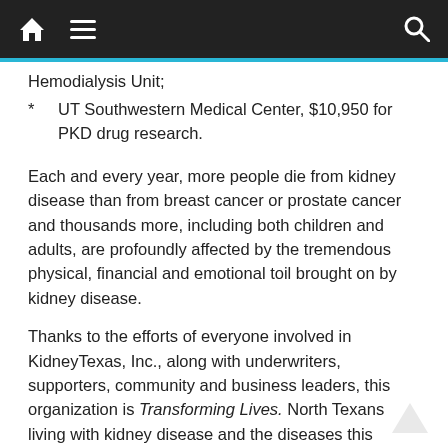Navigation bar with home, menu, and search icons
Hemodialysis Unit;
* UT Southwestern Medical Center, $10,950 for PKD drug research.
Each and every year, more people die from kidney disease than from breast cancer or prostate cancer and thousands more, including both children and adults, are profoundly affected by the tremendous physical, financial and emotional toil brought on by kidney disease.
Thanks to the efforts of everyone involved in KidneyTexas, Inc., along with underwriters, supporters, community and business leaders, this organization is Transforming Lives. North Texans living with kidney disease and the diseases this research impacts have reason to hope for a better life.